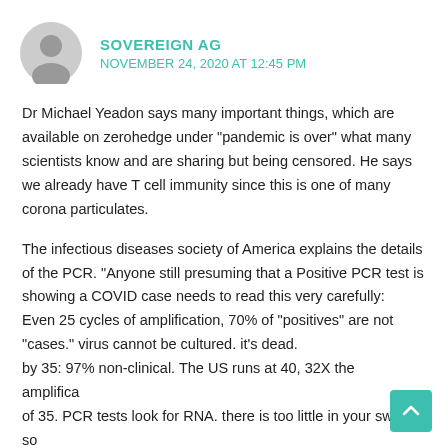SOVEREIGN AG
NOVEMBER 24, 2020 AT 12:45 PM
Dr Michael Yeadon says many important things, which are available on zerohedge under "pandemic is over" what many scientists know and are sharing but being censored. He says we already have T cell immunity since this is one of many corona particulates.
The infectious diseases society of America explains the details of the PCR. "Anyone still presuming that a Positive PCR test is showing a COVID case needs to read this very carefully:
Even 25 cycles of amplification, 70% of "positives" are not "cases." virus cannot be cultured. it's dead.
by 35: 97% non-clinical. The US runs at 40, 32X the amplification of 35. PCR tests look for RNA. there is too little in your swab. so